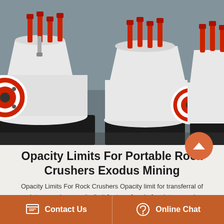[Figure (photo): Photograph of multiple large white and red industrial cone crushers (portable rock crushing machines) arranged in a row inside a factory/warehouse setting. The machines feature prominent red hydraulic cylinders and circular red-rimmed wheels/flywheels.]
Opacity Limits For Portable Rock Crushers Exodus Mining
Opacity Limits For Rock Crushers Opacity limit for transferral of rock to a crusher opacity limit for transferral of rock to a crusher opacity limits for portable rock crushers ard 43 rules opacity for rock crushing to portable rock crushers
Contact Us | Online Chat